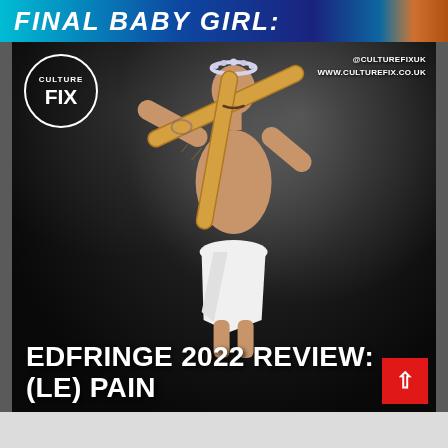FINAL BABY GIRL:
[Figure (photo): Promotional photo for EdFringe 2022 show '(Le) Pain': a shirtless man wearing a white cloth loincloth and a floral/silver crown, carrying two large baguettes crossed over his shoulder like a cross, standing against a dark smoky background with flour dust. Culture Fix logo circle top left, social handles top right (@CULTUREFIXUK, WWW.CULTUREFIX.CO.UK). Text overlay at bottom reads 'EDFRINGE 2022 REVIEW: (LE) PAIN'. Red scroll-to-top button bottom right.]
EDFRINGE 2022 REVIEW: (LE) PAIN